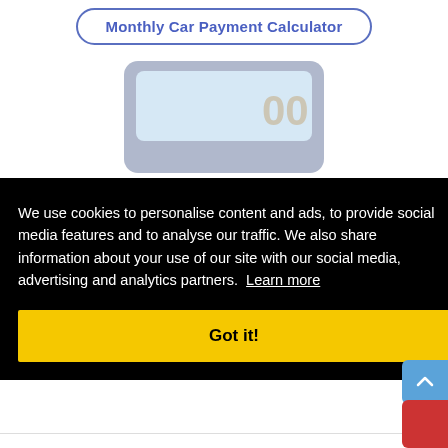Monthly Car Payment Calculator
[Figure (illustration): Calculator illustration showing a grey calculator with a light blue screen displaying '00' digits]
We use cookies to personalise content and ads, to provide social media features and to analyse our traffic. We also share information about your use of our site with our social media, advertising and analytics partners. Learn more
Got it!